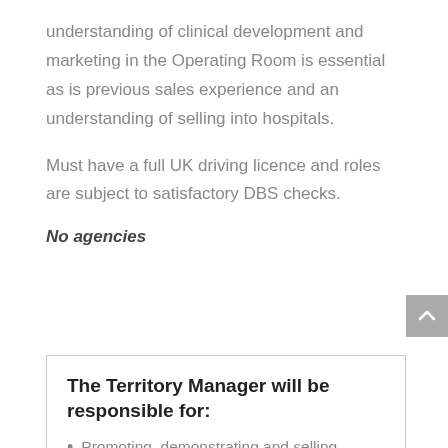understanding of clinical development and marketing in the Operating Room is essential as is previous sales experience and an understanding of selling into hospitals.
Must have a full UK driving licence and roles are subject to satisfactory DBS checks.
No agencies
The Territory Manager will be responsible for:
Promoting, demonstrating and selling